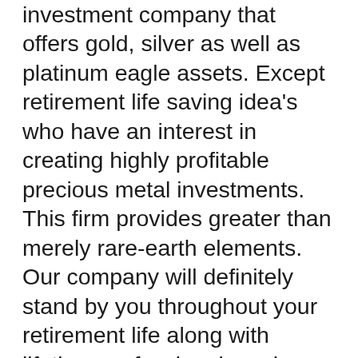investment company that offers gold, silver as well as platinum eagle assets. Except retirement life saving idea's who have an interest in creating highly profitable precious metal investments. This firm provides greater than merely rare-earth elements. Our company will definitely stand by you throughout your retirement life along with lifetime professional service as your depended on resource of beneficial information and also superior items. What is actually additional, you can possess assurance recognizing you are spending your hard-earned amount of money with a provider that is controlled by the United States Mint.
Performed you recognize that the US Mint